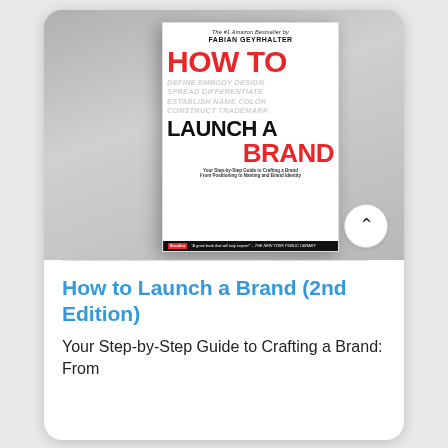[Figure (photo): Book cover of 'How to Launch a Brand (2nd Edition)' by Fabian Geyrhalter, shown in a mobile phone screen interface. The book cover features bold red and black typography on white background with ghost italic text. Below the book image is a circular up-arrow navigation button.]
How to Launch a Brand (2nd Edition)
Your Step-by-Step Guide to Crafting a Brand: From